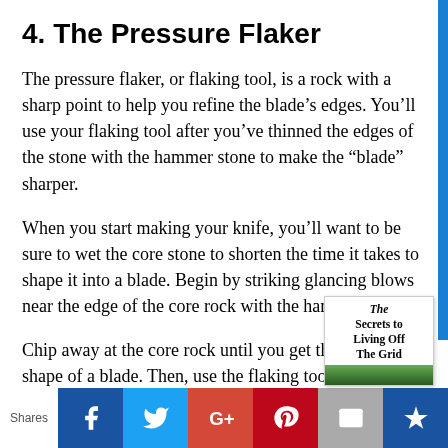4. The Pressure Flaker
The pressure flaker, or flaking tool, is a rock with a sharp point to help you refine the blade’s edges. You’ll use your flaking tool after you’ve thinned the edges of the stone with the hammer stone to make the “blade” sharper.
When you start making your knife, you’ll want to be sure to wet the core stone to shorten the time it takes to shape it into a blade. Begin by striking glancing blows near the edge of the core rock with the hammerstone.
Chip away at the core rock until you get the general shape of a blade. Then, use the flaking tool to refine the edges you need to sharpen.
[Figure (illustration): Book cover thumbnail showing 'The Secrets to Living Off The Grid' with a forest/nature image]
Shares | Facebook | Twitter | Google+ | Pinterest | Email | Bookmark